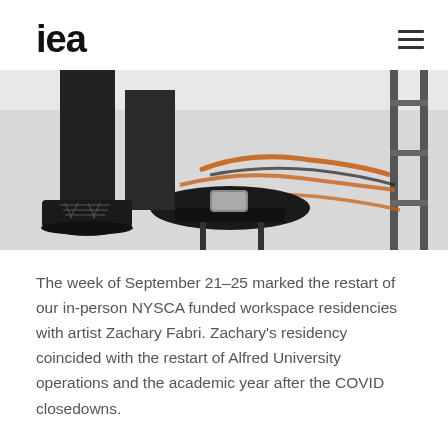iea
[Figure (photo): Close-up photo of a person's feet in black lace-up boots standing near a round black stool with a small device on it, and orange/black cables on a light gray floor, with a metal shelf structure on the right.]
The week of September 21–25 marked the restart of our in-person NYSCA funded workspace residencies with artist Zachary Fabri. Zachary's residency coincided with the restart of Alfred University operations and the academic year after the COVID closedowns.